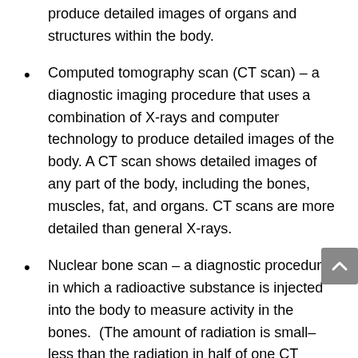produce detailed images of organs and structures within the body.
Computed tomography scan (CT scan) – a diagnostic imaging procedure that uses a combination of X-rays and computer technology to produce detailed images of the body. A CT scan shows detailed images of any part of the body, including the bones, muscles, fat, and organs. CT scans are more detailed than general X-rays.
Nuclear bone scan – a diagnostic procedure in which a radioactive substance is injected into the body to measure activity in the bones. (The amount of radiation is small– less than the radiation in half of one CT scan.) This scan helps identify damaged